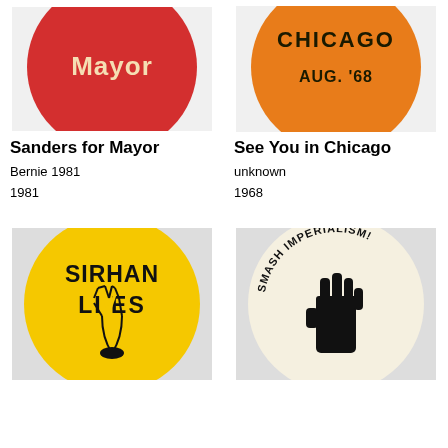[Figure (photo): Red circular pin button reading 'Mayor' in yellow text - Sanders for Mayor campaign button]
Sanders for Mayor
Bernie 1981
1981
[Figure (photo): Orange circular pin button reading 'CHICAGO AUG. '68' in black text with a stick pin]
See You in Chicago
unknown
1968
[Figure (photo): Yellow circular pin button reading 'SIRHAN LIVES' with a peace sign hand gesture illustration]
[Figure (photo): White/cream circular pin button reading 'SMASH IMPERIALISM!' with a raised fist illustration]